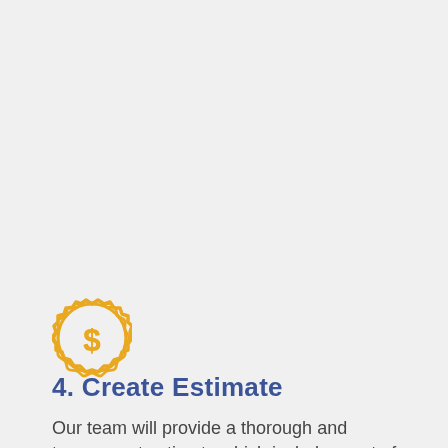[Figure (illustration): A golden/yellow badge/seal icon with a dollar sign in the center, representing pricing or cost estimation.]
4. Create Estimate
Our team will provide a thorough and transparent estimate which includes cost of